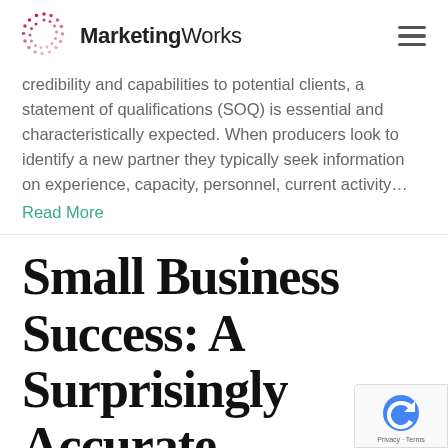MarketingWorks
credibility and capabilities to potential clients, a statement of qualifications (SOQ) is essential and characteristically expected. When producers look to identify a new partner they typically seek information on experience, capacity, personnel, current activity… Read More
Small Business Success: A Surprisingly Accurate Fortune…